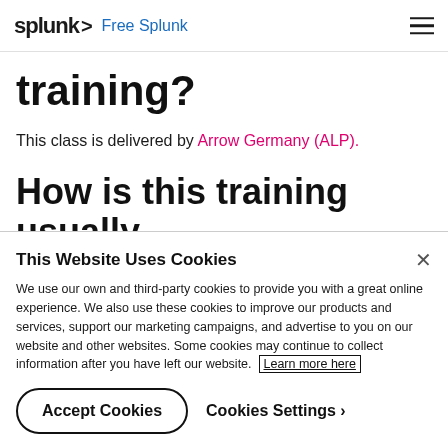splunk> Free Splunk
training?
This class is delivered by Arrow Germany (ALP).
How is this training usually
This Website Uses Cookies
We use our own and third-party cookies to provide you with a great online experience. We also use these cookies to improve our products and services, support our marketing campaigns, and advertise to you on our website and other websites. Some cookies may continue to collect information after you have left our website. Learn more here
Accept Cookies   Cookies Settings ›